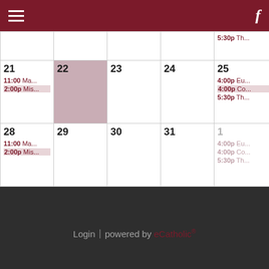Navigation bar with hamburger menu and Facebook icon
|  |  |  |  |  |
| --- | --- | --- | --- | --- |
|  |  |  |  | 5:30p Th... |
| 21
11:00 Ma...
2:00p Mis... | 22 | 23 | 24 | 25
4:00p Eu...
4:00p Co...
5:30p Th... |
| 28
11:00 Ma...
2:00p Mis... | 29 | 30 | 31 | 1
4:00p Eu...
4:00p Co...
5:30p Th... |
Login | powered by eCatholic®